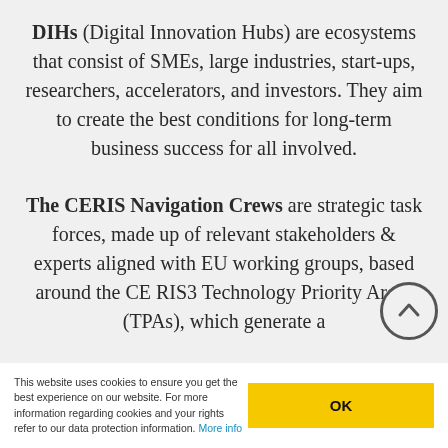DIHs (Digital Innovation Hubs) are ecosystems that consist of SMEs, large industries, start-ups, researchers, accelerators, and investors. They aim to create the best conditions for long-term business success for all involved.
The CERIS Navigation Crews are strategic task forces, made up of relevant stakeholders & experts aligned with EU working groups, based around the CE RIS3 Technology Priority Areas (TPAs), which generate a
This website uses cookies to ensure you get the best experience on our website. For more information regarding cookies and your rights refer to our data protection information. More info